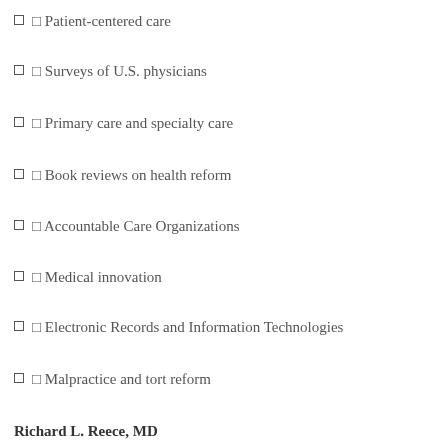Patient-centered care
Surveys of U.S. physicians
Primary care and specialty care
Book reviews on health reform
Accountable Care Organizations
Medical innovation
Electronic Records and Information Technologies
Malpractice and tort reform
Richard L. Reece, MD